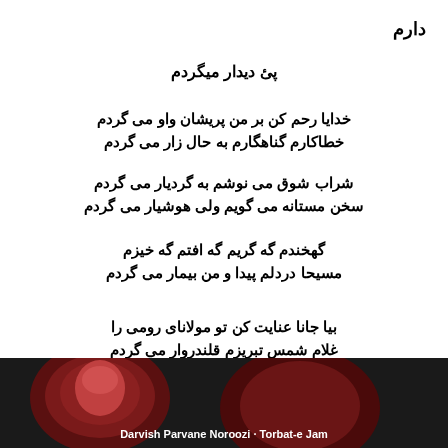دارم
پئ دیدار میگردم
خدایا رحم کن بر من پریشان واو می گردم
خطاکارم گناهگارم به حال زار می گردم
شراب شوق می نوشم به گردیار می گردم
سخن مستانه می گویم ولی هوشیار می گردم
گه خندم گه گریم گه افتم گه خیزم
مسیحا دردلم پیدا و من بیمار می گردم
بیا جانا عنایت کن تو مولانای رومی را
غلام شمس تبریزم قلندروار می گردم
[Figure (photo): Bottom portion showing a person's face partially visible with dark red/maroon background and text below]